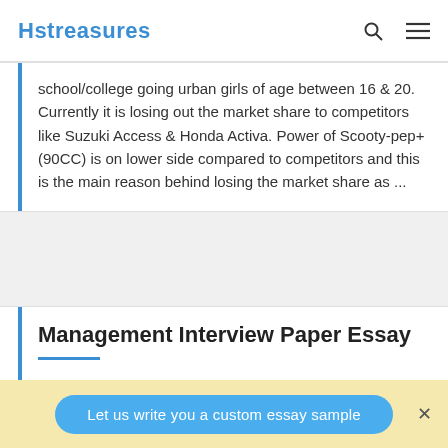Hstreasures
school/college going urban girls of age between 16 & 20. Currently it is losing out the market share to competitors like Suzuki Access & Honda Activa. Power of Scooty-pep+ (90CC) is on lower side compared to competitors and this is the main reason behind losing the market share as ...
Management Interview Paper Essay
Coordination is a means of dealing with
Let us write you a custom essay sample